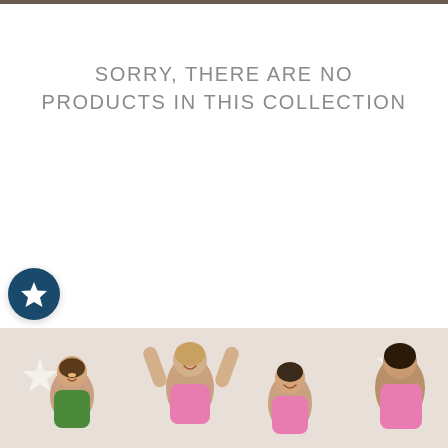SORRY, THERE ARE NO PRODUCTS IN THIS COLLECTION
[Figure (illustration): Dark teal circular badge with a white star icon]
PRODUCT FILTER
[Figure (photo): Photo of children playing and smiling, wearing colorful tops]